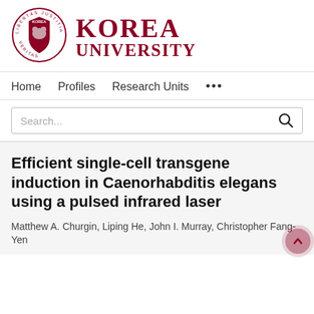[Figure (logo): Korea University logo with circular seal and KOREA UNIVERSITY wordmark in dark red/maroon]
Home   Profiles   Research Units   ...
Search...
Efficient single-cell transgene induction in Caenorhabditis elegans using a pulsed infrared laser
Matthew A. Churgin, Liping He, John I. Murray, Christopher Fang-Yen